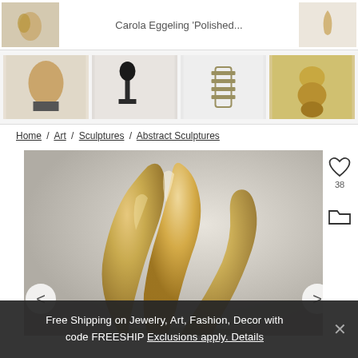[Figure (photo): Partial view of small sculpture thumbnail on left, center text 'Carola Eggeling Polished...' truncated, and right thumbnail, top strip]
[Figure (photo): Row of four sculpture thumbnail images on light gray background]
Home / Art / Sculptures / Abstract Sculptures
[Figure (photo): Main product image of a large golden abstract sculpture with flowing curved forms on gray gradient background, with heart icon (38 likes), folder icon, and left/right navigation arrows]
Free Shipping on Jewelry, Art, Fashion, Decor with code FREESHIP Exclusions apply. Details